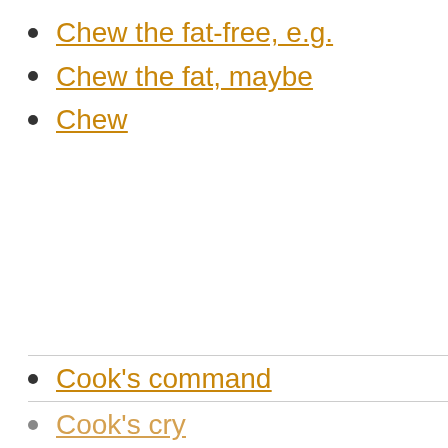Chew the fat-free, e.g.
Chew the fat, maybe
Chew
Cook's command
Cook's cry